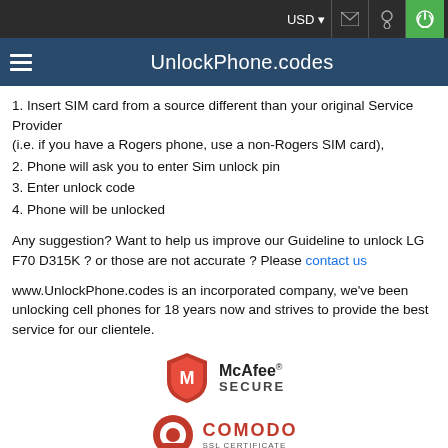USD | [mail icon] | [location icon] | [power icon]
UnlockPhone.codes
1. Insert SIM card from a source different than your original Service Provider
(i.e. if you have a Rogers phone, use a non-Rogers SIM card),
2. Phone will ask you to enter Sim unlock pin
3. Enter unlock code
4. Phone will be unlocked
Any suggestion? Want to help us improve our Guideline to unlock LG F70 D315K ? or those are not accurate ? Please contact us
www.UnlockPhone.codes is an incorporated company, we've been unlocking cell phones for 18 years now and strives to provide the best service for our clientele.
[Figure (logo): McAfee SECURE badge logo]
[Figure (logo): COMODO certificate badge logo]